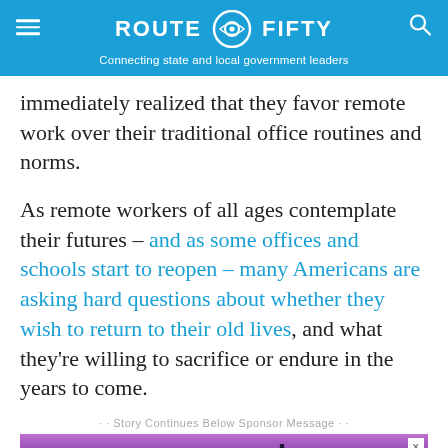ROUTE FIFTY — Connecting state and local government leaders
immediately realized that they favor remote work over their traditional office routines and norms.
As remote workers of all ages contemplate their futures – and as some offices and schools start to reopen – many Americans are asking hard questions about whether they wish to return to their old lives, and what they're willing to sacrifice or endure in the years to come.
· · Story Continues Below Sponsor Message · ·
[Figure (photo): Advertisement banner showing a nighttime/twilight cityscape with the Washington DC skyline including Capitol building silhouette against a purple-blue sky.]